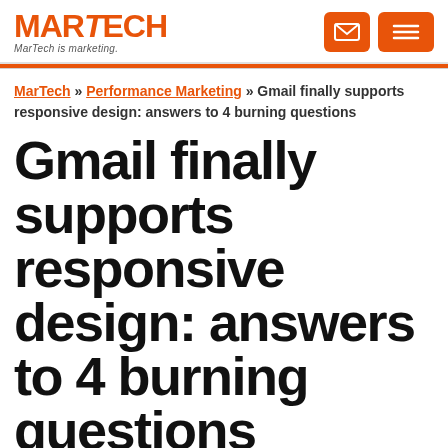MARTECH — MarTech is marketing.
MarTech » Performance Marketing » Gmail finally supports responsive design: answers to 4 burning questions
Gmail finally supports responsive design: answers to 4 burning questions
Google has started rolling out support for